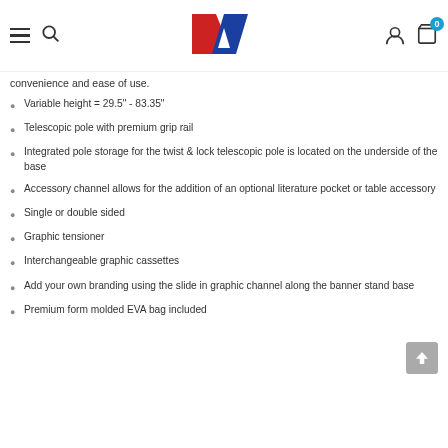DA logo, hamburger menu, search, user icon, cart (0)
convenience and ease of use.
Variable height = 29.5" - 83.35"
Telescopic pole with premium grip rail
Integrated pole storage for the twist & lock telescopic pole is located on the underside of the base
Accessory channel allows for the addition of an optional literature pocket or table accessory
Single or double sided
Graphic tensioner
Interchangeable graphic cassettes
Add your own branding using the slide in graphic channel along the banner stand base
Premium form molded EVA bag included